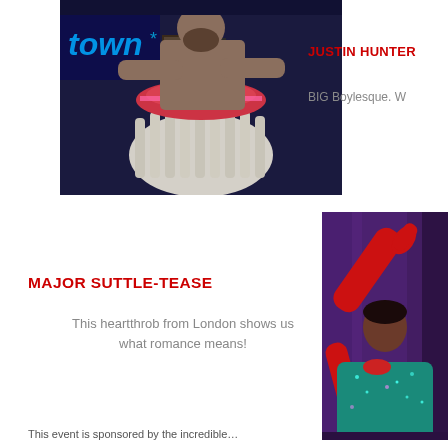[Figure (photo): Man in cupcake costume at a venue with blue neon light reading 'town' in background]
JUSTIN HUNTER
BIG Boylesque. W
[Figure (photo): Person in red gloves and teal sequined outfit performing on stage with purple curtain background]
MAJOR SUTTLE-TEASE
This heartthrob from London shows us what romance means!
This event is sponsored by the incredible…